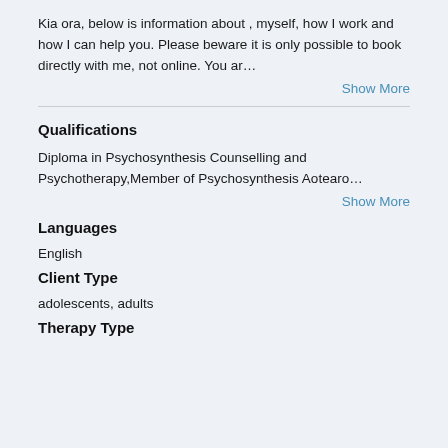Kia ora, below is information about , myself, how I work and how I can help you. Please beware it is only possible to book directly with me, not online. You ar…
Show More
Qualifications
Diploma in Psychosynthesis Counselling and Psychotherapy,Member of Psychosynthesis Aotearo…
Show More
Languages
English
Client Type
adolescents, adults
Therapy Type